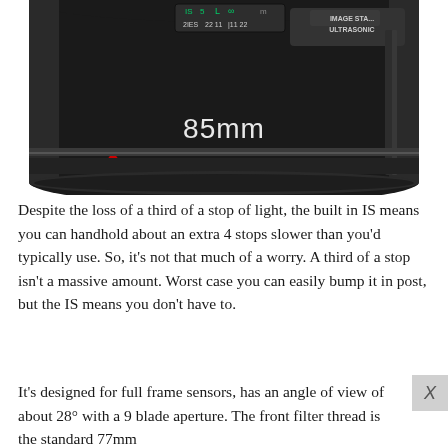[Figure (photo): Close-up photo of a Canon 85mm camera lens (Image Stabilizer Ultrasonic) viewed from the top/front, showing the barrel with markings for aperture f/22, 11, 5, infinity, and focal length 85mm, on a white background.]
Despite the loss of a third of a stop of light, the built in IS means you can handhold about an extra 4 stops slower than you'd typically use. So, it's not that much of a worry. A third of a stop isn't a massive amount. Worst case you can easily bump it in post, but the IS means you don't have to.
It's designed for full frame sensors, has an angle of view of about 28° with a 9 blade aperture. The front filter thread is the standard 77mm